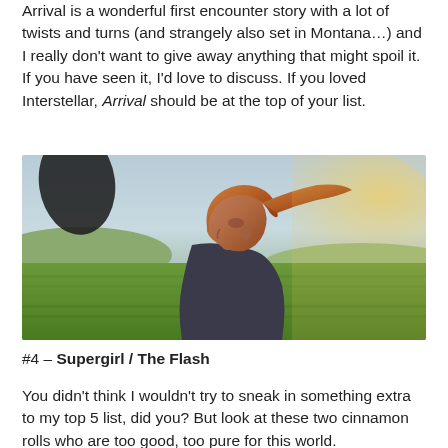Arrival is a wonderful first encounter story with a lot of twists and turns (and strangely also set in Montana…) and I really don't want to give away anything that might spoil it. If you have seen it, I'd love to discuss. If you loved Interstellar, Arrival should be at the top of your list.
[Figure (photo): A woman with red hair in a ponytail, viewed from the side, looking downward. She is outdoors in a green field with hills in the background and warm sunlight. A large dark oval shape (alien vessel) is visible in the upper left. Scene from the movie Arrival.]
#4 – Supergirl / The Flash
You didn't think I wouldn't try to sneak in something extra to my top 5 list, did you? But look at these two cinnamon rolls who are too good, too pure for this world.